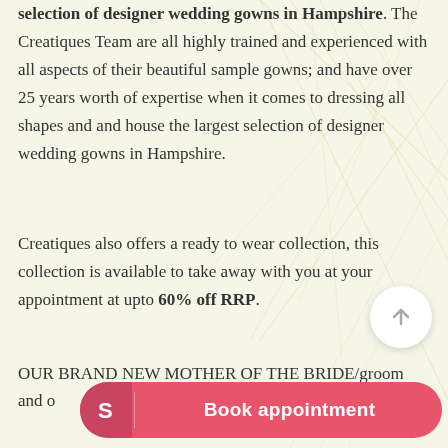selection of designer wedding gowns in Hampshire. The Creatiques Team are all highly trained and experienced with all aspects of their beautiful sample gowns; and have over 25 years worth of expertise when it comes to dressing all shapes and and house the largest selection of designer wedding gowns in Hampshire.
Creatiques also offers a ready to wear collection, this collection is available to take away with you at your appointment at upto 60% off RRP.
OUR BRAND NEW MOTHER OF THE BRIDE/groom and o... is available in sizes 8... Veromia occasions, Lizabella and Labella, the